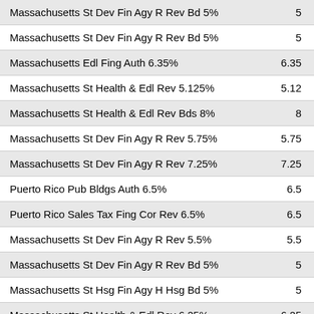| Security | Rate |
| --- | --- |
| Massachusetts St Dev Fin Agy R Rev Bd 5% | 5 |
| Massachusetts St Dev Fin Agy R Rev Bd 5% | 5 |
| Massachusetts Edl Fing Auth 6.35% | 6.35 |
| Massachusetts St Health & Edl Rev 5.125% | 5.12 |
| Massachusetts St Health & Edl Rev Bds 8% | 8 |
| Massachusetts St Dev Fin Agy R Rev 5.75% | 5.75 |
| Massachusetts St Dev Fin Agy R Rev 7.25% | 7.25 |
| Puerto Rico Pub Bldgs Auth 6.5% | 6.5 |
| Puerto Rico Sales Tax Fing Cor Rev 6.5% | 6.5 |
| Massachusetts St Dev Fin Agy R Rev 5.5% | 5.5 |
| Massachusetts St Dev Fin Agy R Rev Bd 5% | 5 |
| Massachusetts St Hsg Fin Agy H Hsg Bd 5% | 5 |
| Massachusetts St Health & Edl Rev 6.25% | 6.25 |
| Massachusetts St Health & Edl Rev 5.125% | 5.12 |